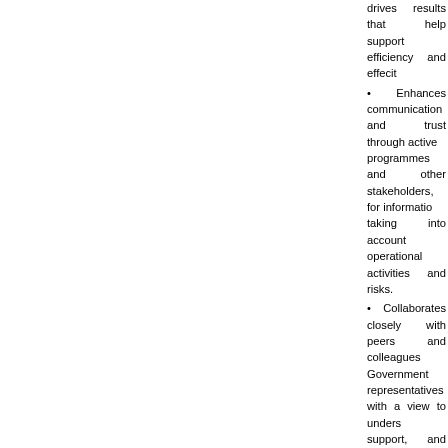drives results that help support efficiency and effec…
• Enhances communication and trust through active… programmes and other stakeholders, for informatio… taking into account operational activities and risks.
• Collaborates closely with peers and colleagues… Government representatives with a view to unders… support, and staying abreast of existing and emergi… personnel, dependents, premises, residences, and p…
• Strengthens awareness and capacity of relevant… contextually relevant security training and advice.
• Conducts security surveys and assessments, crea… the most simple, reasonable, effective and efficient… and/or fluid information.
• Supports organizational resilience and contingen… recovery and business continuity plans, by provi… updates. Assists with internally relocating personne… implementation of evacuation plans from a country.
• Provides support to establishing and maintaining a…
• Supports budget, finance and logistical planning… administration, finance, and logistics forums. Suppo… implementation. Manages performance of security p…
• Actively implements departmental approaches t…